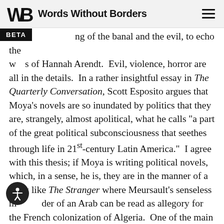Words Without Borders
ing of the banal and the evil, to echo the words of Hannah Arendt. Evil, violence, horror are all in the details. In a rather insightful essay in The Quarterly Conversation, Scott Esposito argues that Moya's novels are so inundated by politics that they are, strangely, almost apolitical, what he calls “a part of the great political subconsciousness that seethes through life in 21st-century Latin America.” I agree with this thesis; if Moya is writing political novels, which, in a sense, he is, they are in the manner of a work like The Stranger where Meursault’s senseless murder of an Arab can be read as allegory for the French colonization of Algeria. One of the main